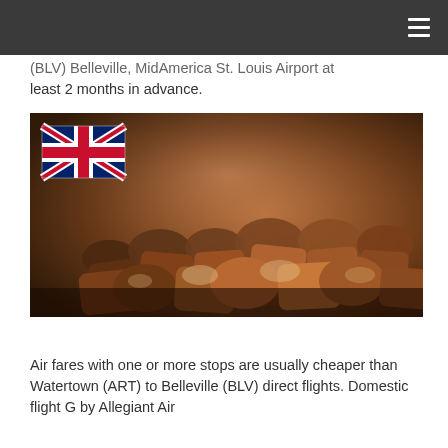(BLV) Belleville, MidAmerica St. Louis Airport at least 2 months in advance.
[Figure (photo): A photo of British flag (Union Jack) in the top-left corner overlaid on a pile of brown sugar/candy rock pieces on a dark gradient background.]
Air fares with one or more stops are usually cheaper than Watertown (ART) to Belleville (BLV) direct flights. Domestic flight G by Allegiant Air